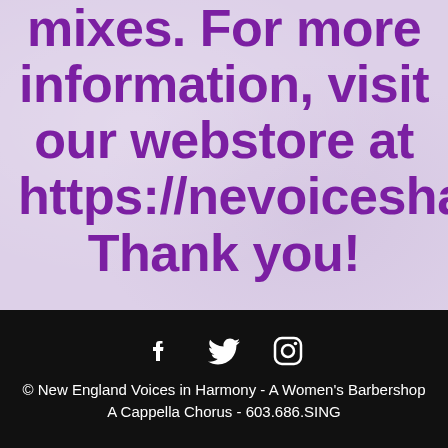mixes. For more information, visit our webstore at https://nevoicesharmony.terrilynn.com Thank you!
[Figure (other): Social media icons: Facebook, Twitter, Instagram]
© New England Voices in Harmony - A Women's Barbershop A Cappella Chorus - 603.686.SING